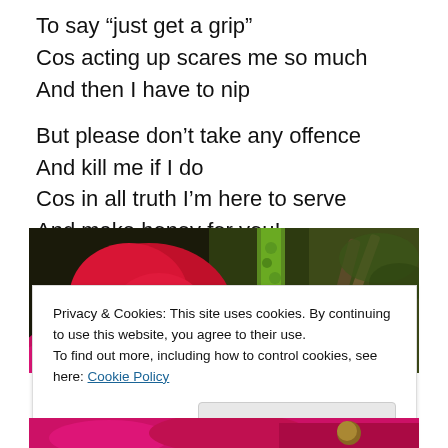To say “just get a grip”
Cos acting up scares me so much
And then I have to nip
But please don’t take any offence
And kill me if I do
Cos in all truth I’m here to serve
And make honey for you!
[Figure (photo): Close-up photograph of red flower buds and green stems against a dark background]
Privacy & Cookies: This site uses cookies. By continuing to use this website, you agree to their use.
To find out more, including how to control cookies, see here: Cookie Policy
[Figure (photo): Partial view of another photograph at the bottom of the page showing flowers and a bee]